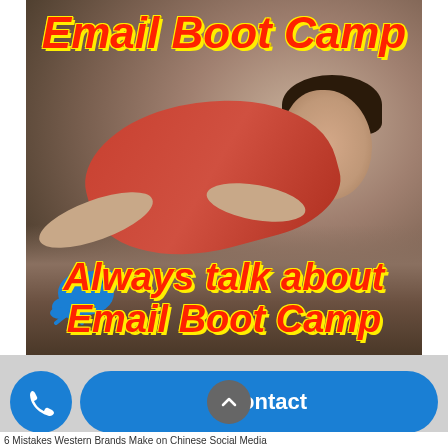[Figure (photo): Promotional banner image showing a woman doing push-ups on rocky ground, with text overlay reading 'Email Boot Camp' at top and 'Always talk about Email Boot Camp' at bottom. A blue Twitter bird icon is visible in the lower left of the image.]
[Figure (infographic): Mobile UI bottom bar with a blue phone button (circular), a blue 'Contact' pill-shaped button, and a dark grey up-arrow circular button overlapping the contact button.]
6 Mistakes Western Brands Make on Chinese Social Media